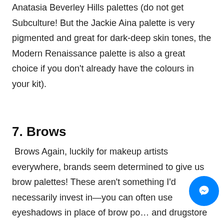Anatasia Beverley Hills palettes (do not get Subculture! But the Jackie Aina palette is very pigmented and great for dark-deep skin tones, the Modern Renaissance palette is also a great choice if you don't already have the colours in your kit).
7. Brows
Brows Again, luckily for makeup artists everywhere, brands seem determined to give us brow palettes! These aren't something I'd necessarily invest in—you can often use eyeshadows in place of brow pow… and drugstore brands such as MUA make my all time